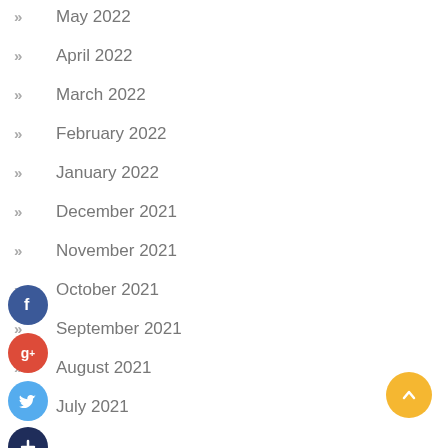May 2022
April 2022
March 2022
February 2022
January 2022
December 2021
November 2021
October 2021
September 2021
August 2021
July 2021
[Figure (infographic): Social media share buttons: Facebook (blue circle with f), Google+ (red circle with g+), Twitter (light blue circle with bird icon), dark navy plus button]